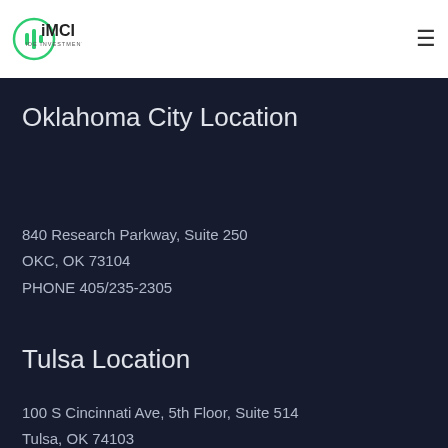iMCI IDE Investments
Oklahoma City Location
840 Research Parkway, Suite 250
OKC, OK 73104
PHONE 405/235-2305
Tulsa Location
100 S Cincinnati Ave, 5th Floor, Suite 514
Tulsa, OK 74103
PHONE 918/582-5592